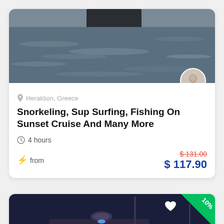[Figure (photo): Ocean water surface with a dark vessel partially visible at top, grey water texture]
Heraklion, Greece
Snorkeling, Sup Surfing, Fishing On Sunset Cruise And Many More
4 hours
from  $ 131.00  $ 117.90
[Figure (photo): Luxury yacht illuminated with blue LED lights at night, docked at marina]